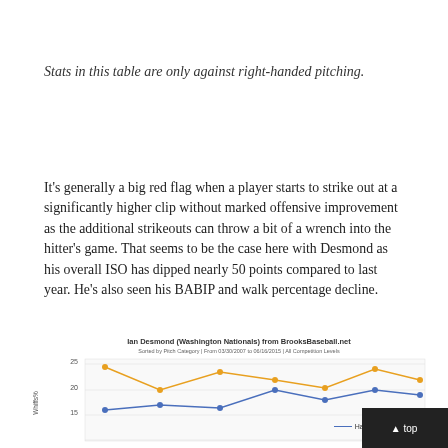Stats in this table are only against right-handed pitching.
It's generally a big red flag when a player starts to strike out at a significantly higher clip without marked offensive improvement as the additional strikeouts can throw a bit of a wrench into the hitter's game. That seems to be the case here with Desmond as his overall ISO has dipped nearly 50 points compared to last year. He's also seen his BABIP and walk percentage decline.
[Figure (line-chart): Line chart sorted by Pitch Category | From 03/30/2007 to 06/16/2015 | All Competition Levels. Shows multiple colored lines (blue and orange/yellow) with data points. Y-axis shows values from approximately 15 to 25. Legend partially visible showing 'Hard'.]